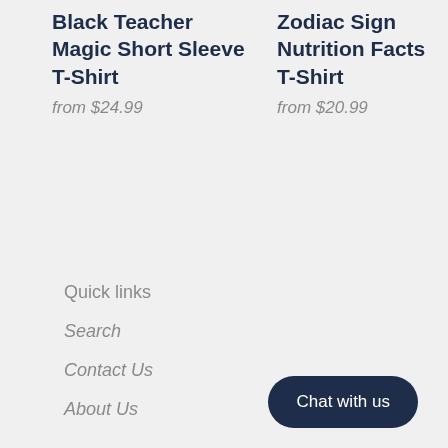Black Teacher Magic Short Sleeve T-Shirt
from $24.99
Zodiac Sign Nutrition Facts T-Shirt
from $20.99
Quick links
Search
Contact Us
About Us
Chat with us